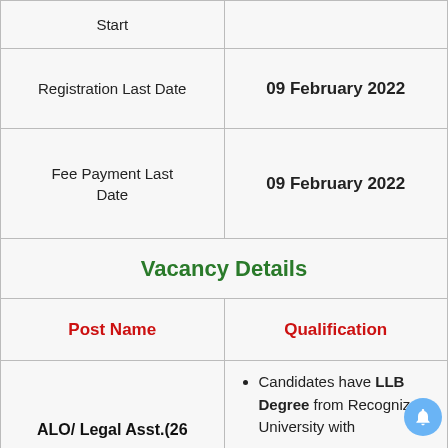|  |  |
| --- | --- |
| Start |  |
| Registration Last Date | 09 February 2022 |
| Fee Payment Last Date | 09 February 2022 |
| Vacancy Details |  |
| Post Name | Qualification |
| ALO/ Legal Asst.(26 | Candidates have LLB Degree from Recognized University with |